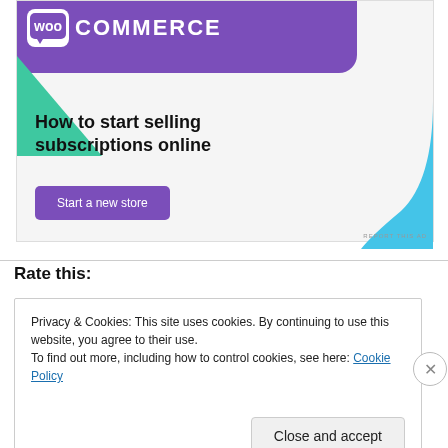[Figure (screenshot): WooCommerce advertisement banner with purple header, green triangle, blue shape, tagline 'How to start selling subscriptions online', and a 'Start a new store' button]
REPORT THIS AD
Rate this:
Privacy & Cookies: This site uses cookies. By continuing to use this website, you agree to their use.
To find out more, including how to control cookies, see here: Cookie Policy
Close and accept